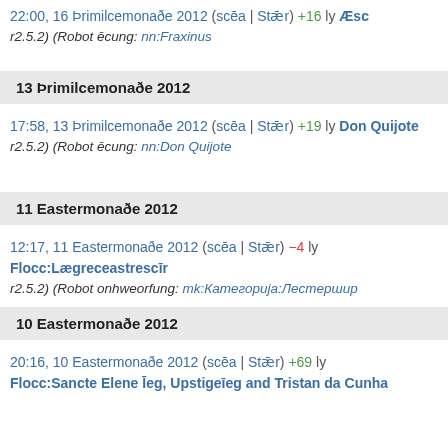22:00, 16 Þrimilcemonaðe 2012  (scēa | Stǣr)  +16  ly  Æsc
r2.5.2) (Robot ēcung: nn:Fraxinus
13 Þrimilcemonaðe 2012
17:58, 13 Þrimilcemonaðe 2012  (scēa | Stǣr)  +19  ly  Don Quijote
r2.5.2) (Robot ēcung: nn:Don Quijote
11 Eastermonaðe 2012
12:17, 11 Eastermonaðe 2012  (scēa | Stǣr)  −4  ly  Flocc:Lægreceastrescīr
r2.5.2) (Robot onhweorfung: mk:Категорија:Лестершир
10 Eastermonaðe 2012
20:16, 10 Eastermonaðe 2012  (scēa | Stǣr)  +69  ly  Flocc:Sancte Elene Īeg, Upstigeīeg and Tristan da Cunha